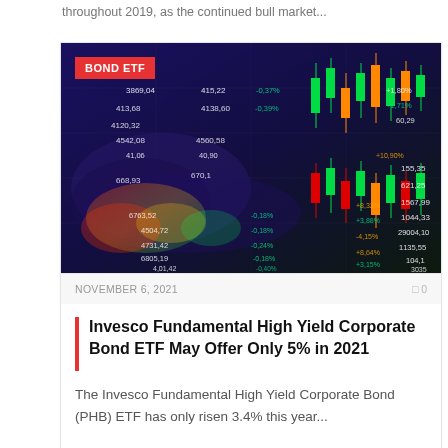throughout 2019, as the continued bull market...
[Figure (photo): Financial stock market data screen with candlestick charts and numeric data overlaid on a dark blue/purple background, with a 'BOND ETF' red label badge in the top-left corner]
NOVEMBER 6, 2021   0
Invesco Fundamental High Yield Corporate Bond ETF May Offer Only 5% in 2021
The Invesco Fundamental High Yield Corporate Bond (PHB) ETF has only risen 3.4% this year...